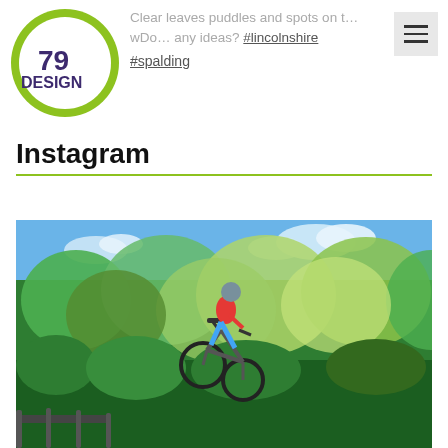[Figure (logo): 79 Design logo — green circle with '79' inside and 'DESIGN' text in dark purple/grey]
Clear leaves puddles and spots on the … Do … any ideas? #lincolnshire #spalding
Instagram
[Figure (photo): Outdoor photo of a cyclist performing a jump on a mountain bike, surrounded by green trees against a blue sky]